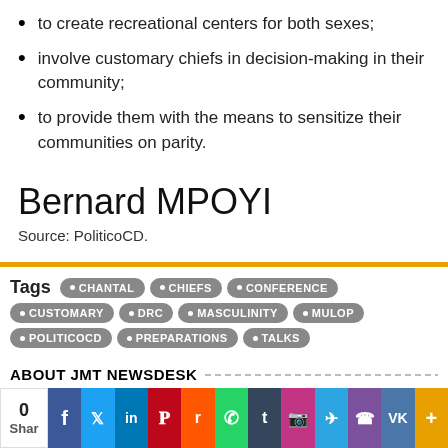to create recreational centers for both sexes;
involve customary chiefs in decision-making in their community;
to provide them with the means to sensitize their communities on parity.
Bernard MPOYI
Source: PoliticoCD.
Tags  CHANTAL  CHIEFS  CONFERENCE  CUSTOMARY  DRC  MASCULINITY  MULOP  POLITICOCD  PREPARATIONS  TALKS
ABOUT JMT NEWSDESK
JOURNAL MAGARA TIMES - News in
0 Shar